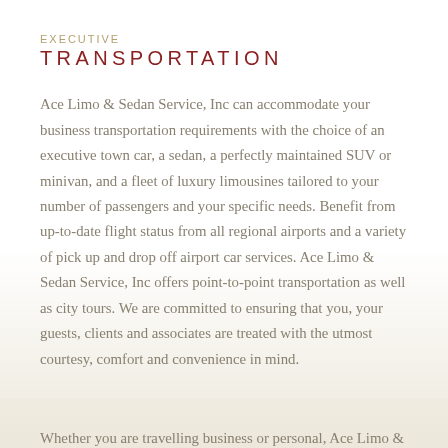EXECUTIVE
TRANSPORTATION
Ace Limo & Sedan Service, Inc can accommodate your business transportation requirements with the choice of an executive town car, a sedan, a perfectly maintained SUV or minivan, and a fleet of luxury limousines tailored to your number of passengers and your specific needs. Benefit from up-to-date flight status from all regional airports and a variety of pick up and drop off airport car services. Ace Limo & Sedan Service, Inc offers point-to-point transportation as well as city tours. We are committed to ensuring that you, your guests, clients and associates are treated with the utmost courtesy, comfort and convenience in mind.
Whether you are travelling business or personal, Ace Limo & Sedan Service, Inc offers efficient airport car services, or luxury limousine transportation to entertain clients, family and friends...